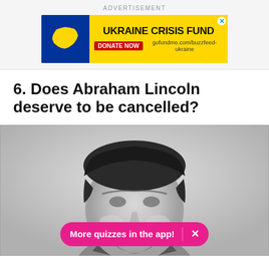ADVERTISEMENT
[Figure (illustration): Ukraine Crisis Fund advertisement banner. Blue background on left with yellow Ukraine map silhouette. Yellow background on right with bold black text 'UKRAINE CRISIS FUND', red button 'DONATE NOW', and URL 'gofundme.com/buzzfeed-ukraine'. Blue X close button in top right corner.]
6. Does Abraham Lincoln deserve to be cancelled?
[Figure (photo): Black and white historical photograph of Abraham Lincoln, cropped to show his head and upper shoulders from close up. The image shows his distinctive features and hair.]
More quizzes in the app! ×